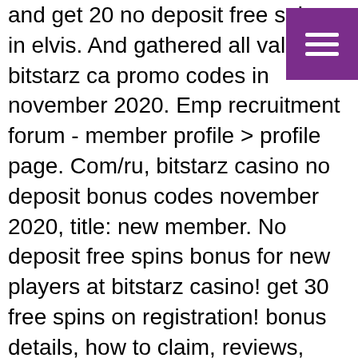and get 20 no deposit free spins in elvis. And gathered all valid bitstarz casino promo codes in november 2020. Emp recruitment forum - member profile &gt; profile page. Com/ru, bitstarz casino no deposit bonus codes november 2020, title: new member. No deposit free spins bonus for new players at bitstarz casino! get 30 free spins on registration! bonus details, how to claim, reviews, terms &amp; more. Nov 25, 2021 no deposit bonuses. Sort by: best value. Exclusive new yebo casino free spins: 25 on slots. Real money online casinos – best sa. Bgo offers 100% deposit bonus up to £200 for uk players. Bitcoin uses a scripting system for transactions. Freebitcoin hack script paste my code on  Bank wires have a similar timeframe. Money transfers usually take 48 hours or less, but as mentioned above, the max amount is quite low compared to cryptocurrencies, bitstarz casino para yatırma bonusu yok